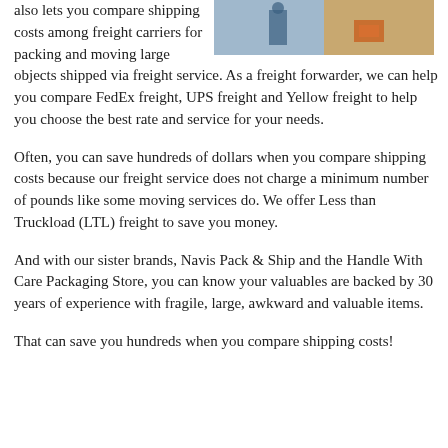[Figure (photo): Photo of a person in a blue shirt near freight/moving boxes, partially visible at top right of page]
also lets you compare shipping costs among freight carriers for packing and moving large objects shipped via freight service.  As a freight forwarder, we can help you compare FedEx freight, UPS freight and Yellow freight to help you choose the best rate and service for your needs.
Often, you can save hundreds of dollars when you compare shipping costs because our freight service does not charge a minimum number of pounds like some moving services do.  We offer Less than Truckload (LTL) freight to save you money.
And with our sister brands, Navis Pack & Ship and the Handle With Care Packaging Store, you can know your valuables are backed by 30 years of experience with fragile, large, awkward and valuable items.
That can save you hundreds when you compare shipping costs!